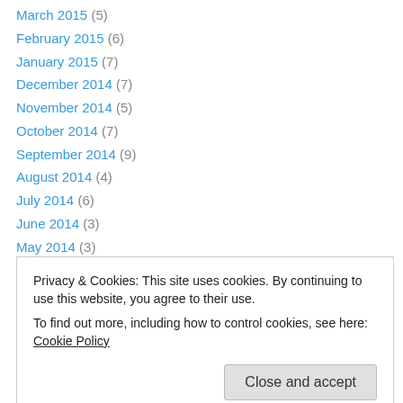March 2015 (5)
February 2015 (6)
January 2015 (7)
December 2014 (7)
November 2014 (5)
October 2014 (7)
September 2014 (9)
August 2014 (4)
July 2014 (6)
June 2014 (3)
May 2014 (3)
April 2014 (3)
March 2014 (6)
Privacy & Cookies: This site uses cookies. By continuing to use this website, you agree to their use.
To find out more, including how to control cookies, see here: Cookie Policy
August 2013 (8)